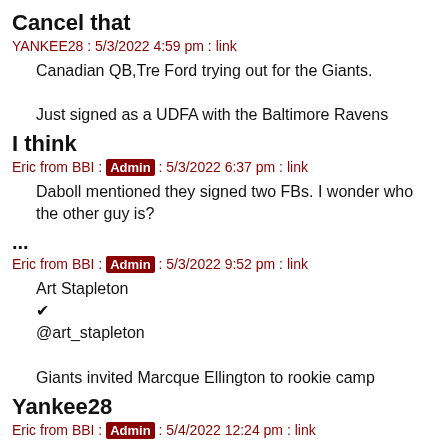Cancel that
YANKEE28 : 5/3/2022 4:59 pm : link
Canadian QB,Tre Ford trying out for the Giants.

Just signed as a UDFA with the Baltimore Ravens
I think
Eric from BBI : Admin : 5/3/2022 6:37 pm : link
Daboll mentioned they signed two FBs. I wonder who the other guy is?
...
Eric from BBI : Admin : 5/3/2022 9:52 pm : link
Art Stapleton
✔
@art_stapleton

Giants invited Marcque Ellington to rookie camp
Yankee28
Eric from BBI : Admin : 5/4/2022 12:24 pm : link
It looks like they signed Easterling...
Giants Sign Brandon Easterling To NDFA Contract - ( New Window )